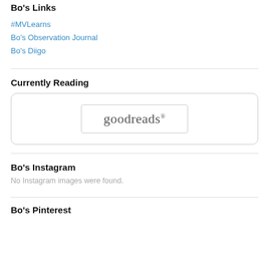Bo's Links
#MVLearns
Bo's Observation Journal
Bo's Diigo
Currently Reading
[Figure (logo): Goodreads logo inside a rounded rectangle widget]
Bo's Instagram
No Instagram images were found.
Bo's Pinterest